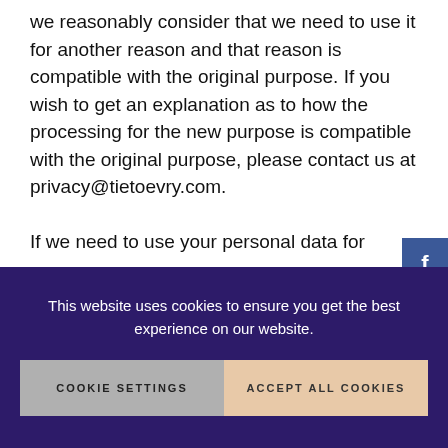we reasonably consider that we need to use it for another reason and that reason is compatible with the original purpose. If you wish to get an explanation as to how the processing for the new purpose is compatible with the original purpose, please contact us at privacy@tietoevry.com.
If we need to use your personal data for
[Figure (other): Social sharing sidebar with Facebook, Twitter, and LinkedIn icons on a green background, positioned on the right side of the page]
This website uses cookies to ensure you get the best experience on our website.
COOKIE SETTINGS    ACCEPT ALL COOKIES